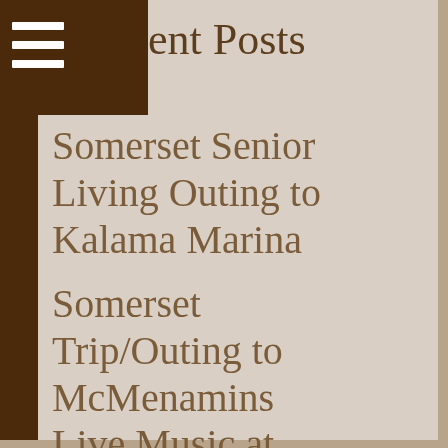Recent Posts
Somerset Senior Living Outing to Kalama Marina
Somerset Trip/Outing to McMenamins
Live Music at Somerset July 2022
Somerset Senior News July 2022